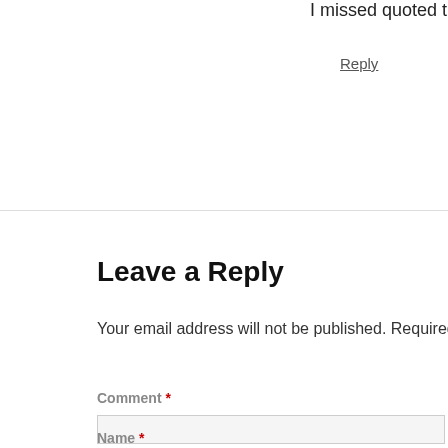I missed quoted the Bible reference. It s
Reply
Leave a Reply
Your email address will not be published. Required field
Comment *
Name *